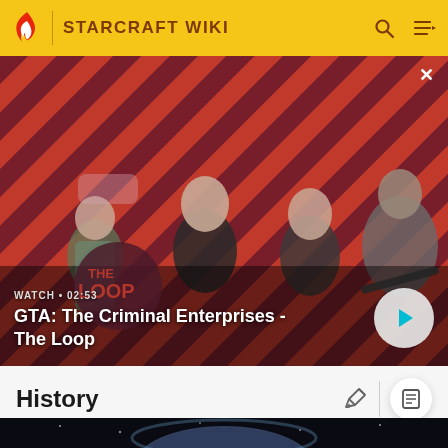STARCRAFT WIKI
[Figure (screenshot): Video banner showing GTA: The Criminal Enterprises - The Loop promotional art with four characters on a red diagonal striped background, with a play button overlay. Duration shown: 02:53]
WATCH • 02:53
GTA: The Criminal Enterprises - The Loop
History
[Figure (photo): Dark space/planet scene visible at bottom of page]